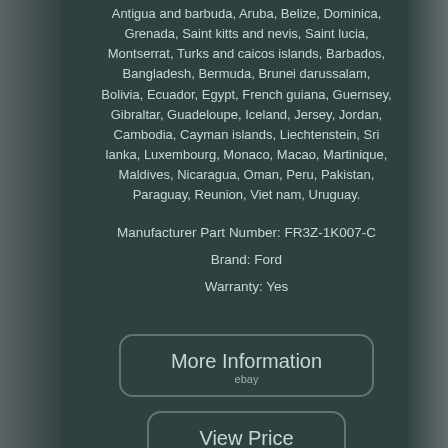Antigua and barbuda, Aruba, Belize, Dominica, Grenada, Saint kitts and nevis, Saint lucia, Montserrat, Turks and caicos islands, Barbados, Bangladesh, Bermuda, Brunei darussalam, Bolivia, Ecuador, Egypt, French guiana, Guernsey, Gibraltar, Guadeloupe, Iceland, Jersey, Jordan, Cambodia, Cayman islands, Liechtenstein, Sri lanka, Luxembourg, Monaco, Macao, Martinique, Maldives, Nicaragua, Oman, Peru, Pakistan, Paraguay, Reunion, Viet nam, Uruguay.
Manufacturer Part Number: FR3Z-1K007-C
Brand: Ford
Warranty: Yes
[Figure (other): Button with rounded rectangle border labeled 'More Information' with 'ebay' subtext below]
[Figure (other): Button with rounded rectangle border labeled 'View Price' with 'ebay' subtext below]